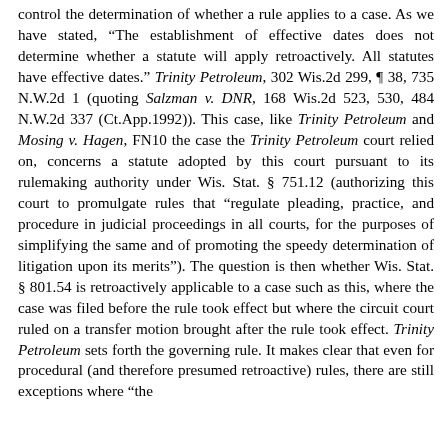control the determination of whether a rule applies to a case. As we have stated, “The establishment of effective dates does not determine whether a statute will apply retroactively. All statutes have effective dates.” Trinity Petroleum, 302 Wis.2d 299, ¶ 38, 735 N.W.2d 1 (quoting Salzman v. DNR, 168 Wis.2d 523, 530, 484 N.W.2d 337 (Ct.App.1992)). This case, like Trinity Petroleum and Mosing v. Hagen, FN10 the case the Trinity Petroleum court relied on, concerns a statute adopted by this court pursuant to its rulemaking authority under Wis. Stat. § 751.12 (authorizing this court to promulgate rules that “regulate pleading, practice, and procedure in judicial proceedings in all courts, for the purposes of simplifying the same and of promoting the speedy determination of litigation upon its merits”). The question is then whether Wis. Stat. § 801.54 is retroactively applicable to a case such as this, where the case was filed before the rule took effect but where the circuit court ruled on a transfer motion brought after the rule took effect. Trinity Petroleum sets forth the governing rule. It makes clear that even for procedural (and therefore presumed retroactive) rules, there are still exceptions where “the